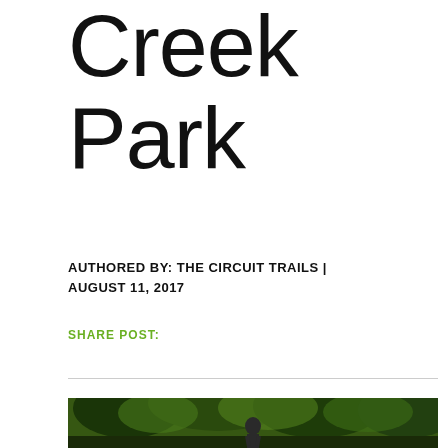Tacony Creek Park
AUTHORED BY: THE CIRCUIT TRAILS | AUGUST 11, 2017
SHARE POST:
[Figure (photo): Photograph of a person standing outdoors in a green wooded area, likely at Tacony Creek Park]